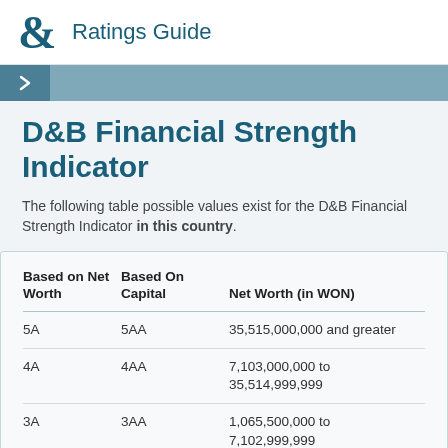Ratings Guide
D&B Financial Strength Indicator
The following table possible values exist for the D&B Financial Strength Indicator in this country.
| Based on Net Worth | Based On Capital | Net Worth (in WON) |
| --- | --- | --- |
| 5A | 5AA | 35,515,000,000 and greater |
| 4A | 4AA | 7,103,000,000 to 35,514,999,999 |
| 3A | 3AA | 1,065,500,000 to 7,102,999,999 |
| 2A | 2AA | 532,725,000 to |